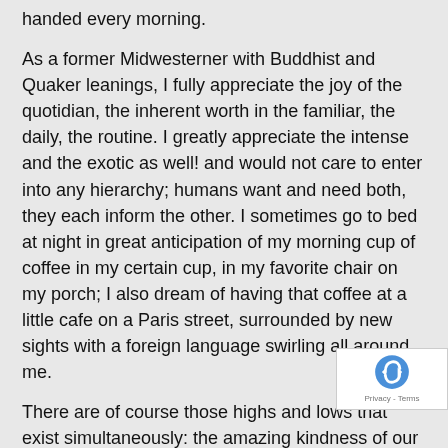handed every morning.
As a former Midwesterner with Buddhist and Quaker leanings, I fully appreciate the joy of the quotidian, the inherent worth in the familiar, the daily, the routine. I greatly appreciate the intense and the exotic as well! and would not care to enter into any hierarchy; humans want and need both, they each inform the other. I sometimes go to bed at night in great anticipation of my morning cup of coffee in my certain cup, in my favorite chair on my porch; I also dream of having that coffee at a little cafe on a Paris street, surrounded by new sights with a foreign language swirling all around me.
There are of course those highs and lows that exist simultaneously: the amazing kindness of our fellow humans when we or a loved one is so, so sick, the courageous acts of bravery or generosity and comfort in the face of other human or natural disasters. There are the wondrous experiences that are often, for me, wrought from the simplest of elements: on water, all manner of skies and clouds, fresh breezes, taste of a ripe peach. There is also the joy of human